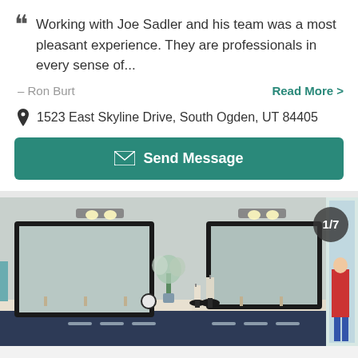Working with Joe Sadler and his team was a most pleasant experience. They are professionals in every sense of...
– Ron Burt
Read More >
1523 East Skyline Drive, South Ogden, UT 84405
Send Message
[Figure (photo): Bathroom interior showing double vanity with dark navy cabinets and white countertops, two black-framed mirrors, wall sconces, flowers and decorations, and a person visible in the background through a doorway. Image counter shows 1/7.]